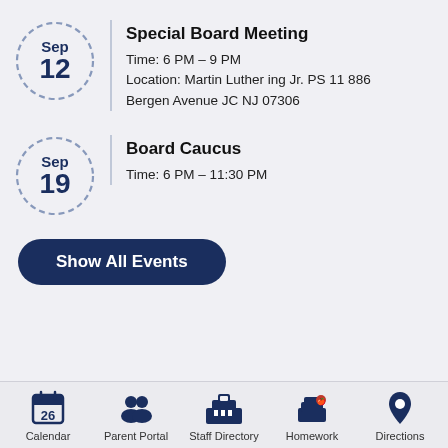[Figure (infographic): Date circle showing Sep 12]
Special Board Meeting
Time: 6 PM – 9 PM
Location: Martin Luther ing Jr. PS 11 886 Bergen Avenue JC NJ 07306
[Figure (infographic): Date circle showing Sep 19]
Board Caucus
Time: 6 PM – 11:30 PM
Show All Events
Calendar | Parent Portal | Staff Directory | Homework | Directions